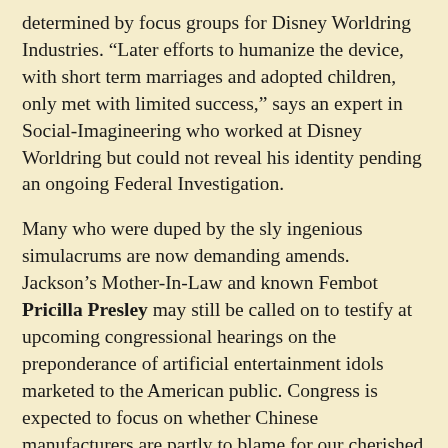determined by focus groups for Disney Worldring Industries. “Later efforts to humanize the device, with short term marriages and adopted children, only met with limited success,” says an expert in Social-Imagineering who worked at Disney Worldring but could not reveal his identity pending an ongoing Federal Investigation.
Many who were duped by the sly ingenious simulacrums are now demanding amends. Jackson’s Mother-In-Law and known Fembot Pricilla Presley may still be called on to testify at upcoming congressional hearings on the preponderance of artificial entertainment idols marketed to the American public. Congress is expected to focus on whether Chinese manufacturers are partly to blame for our cherished illusions being pierced. Alleged master criminal Diana Ross faces up to two hundred and fifty consecutive life sentences for her part in the vast fraudulent conspiracy against the American buying